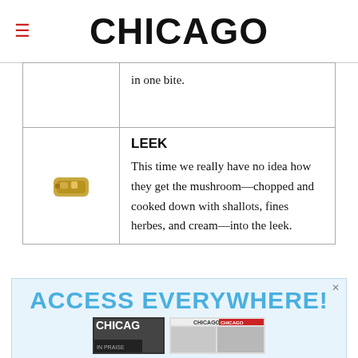CHICAGO
in one bite.
LEEK
This time we really have no idea how they get the mushroom—chopped and cooked down with shallots, fines herbes, and cream—into the leek.
[Figure (photo): Small food item photo (stuffed leek bite)]
[Figure (infographic): Advertisement banner reading ACCESS EVERYWHERE! with Chicago magazine cover and app screenshots]